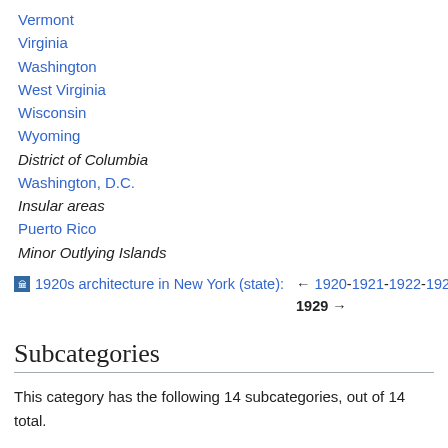Vermont
Virginia
Washington
West Virginia
Wisconsin
Wyoming
District of Columbia
Washington, D.C.
Insular areas
Puerto Rico
Minor Outlying Islands
1920s architecture in New York (state): ← 1920-1921-1922-1923-1924-1925-1926-1927-1928-1929 →
Subcategories
This category has the following 14 subcategories, out of 14 total.